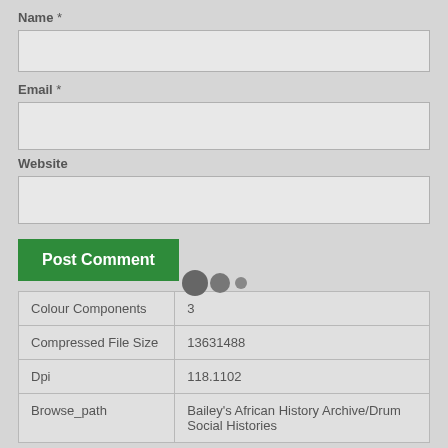Name *
Email *
Website
[Figure (other): Three loading dots of decreasing size in dark grey]
Post Comment
| Colour Components | 3 |
| Compressed File Size | 13631488 |
| Dpi | 118.1102 |
| Browse_path | Bailey's African History Archive/Drum Social Histories |